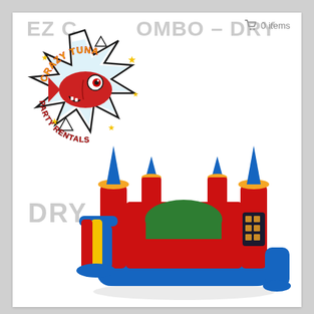0 items
EZ CASTLE COMBO – DRY
[Figure (logo): Crazy Tuna Party Rentals logo: cartoon red fish with big eyes on a spiky explosion background with stars, text 'CRAZY TUNA' arched on top and 'PARTY RENTALS' on bottom, in red and yellow comic style]
DRY
[Figure (photo): Inflatable bounce house castle combo with slide: colorful blue, red, yellow and green inflatable with castle turrets with blue cone tops, a green arch entrance, yellow and red slide on the left side, and a climbing/activity panel on the right side]